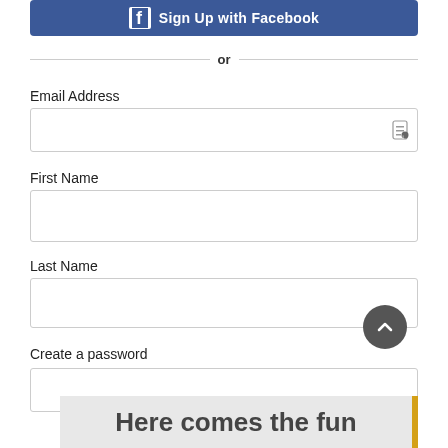[Figure (screenshot): Sign Up with Facebook button with Facebook logo icon on blue background]
or
Email Address
[Figure (screenshot): Empty email address input text field with contact card icon]
First Name
[Figure (screenshot): Empty first name input text field]
Last Name
[Figure (screenshot): Empty last name input text field]
Create a password
[Figure (screenshot): Partially visible create a password input field with scroll-to-top button overlay]
[Figure (screenshot): Banner at bottom reading 'Here comes the fun' with yellow right border]